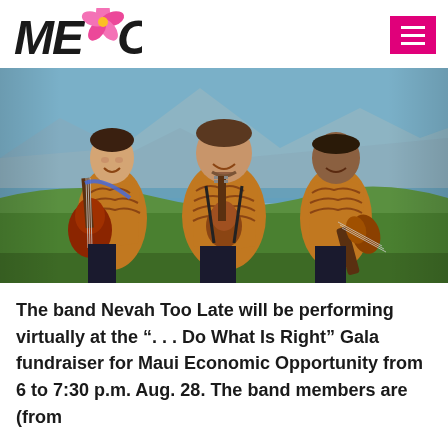[Figure (logo): MEO logo with stylized italic bold text 'MEO' and a pink plumeria flower]
[Figure (photo): Three men wearing matching brown/orange Hawaiian-style aloha shirts holding guitars and a banjo/ukulele, standing outdoors with green hills and blue sky in background (Maui landscape). Band name: Nevah Too Late.]
The band Nevah Too Late will be performing virtually at the “. . . Do What Is Right” Gala fundraiser for Maui Economic Opportunity from 6 to 7:30 p.m. Aug. 28. The band members are (from